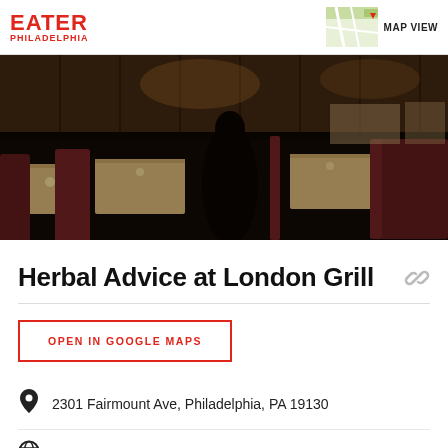EATER PHILADELPHIA
[Figure (photo): Interior of London Grill restaurant showing dark wood booths and tables in a dimly lit dining room]
Herbal Advice at London Grill
OPEN IN GOOGLE MAPS
2301 Fairmount Ave, Philadelphia, PA 19130
Visit Website